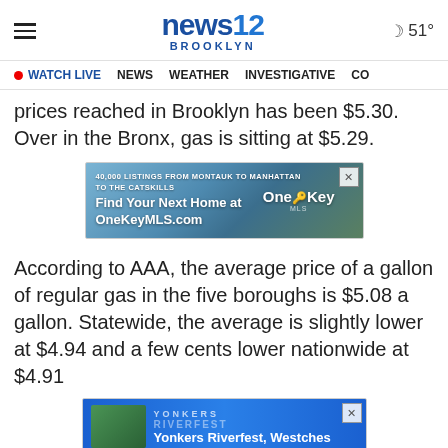news12 BROOKLYN — 51°
WATCH LIVE  NEWS  WEATHER  INVESTIGATIVE  CO
prices reached in Brooklyn has been $5.30. Over in the Bronx, gas is sitting at $5.29.
[Figure (photo): Advertisement: One Key MLS — 40,000 listings from Montauk to Manhattan to the Catskills. Find Your Next Home at OneKeyMLS.com]
According to AAA, the average price of a gallon of regular gas in the five boroughs is $5.08 a gallon. Statewide, the average is slightly lower at $4.94 and a few cents lower nationwide at $4.91
[Figure (photo): Advertisement: Yonkers Riverfest, Westches...]